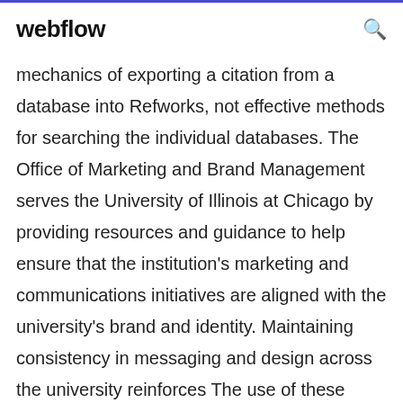webflow
mechanics of exporting a citation from a database into Refworks, not effective methods for searching the individual databases. The Office of Marketing and Brand Management serves the University of Illinois at Chicago by providing resources and guidance to help ensure that the institution's marketing and communications initiatives are aligned with the university's brand and identity. Maintaining consistency in messaging and design across the university reinforces The use of these logos is expressly limited to academic and administrative units of Illinois Institute of Technology. Other usage is strictly prohibited unless permission has been obtained in writing